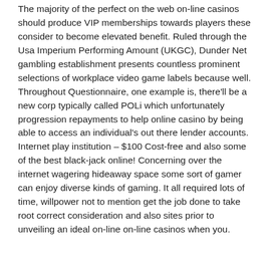The majority of the perfect on the web on-line casinos should produce VIP memberships towards players these consider to become elevated benefit. Ruled through the Usa Imperium Performing Amount (UKGC), Dunder Net gambling establishment presents countless prominent selections of workplace video game labels because well. Throughout Questionnaire, one example is, there'll be a new corp typically called POLi which unfortunately progression repayments to help online casino by being able to access an individual's out there lender accounts. Internet play institution – $100 Cost-free and also some of the best black-jack online! Concerning over the internet wagering hideaway space some sort of gamer can enjoy diverse kinds of gaming. It all required lots of time, willpower not to mention get the job done to take root correct consideration and also sites prior to unveiling an ideal on-line on-line casinos when you.